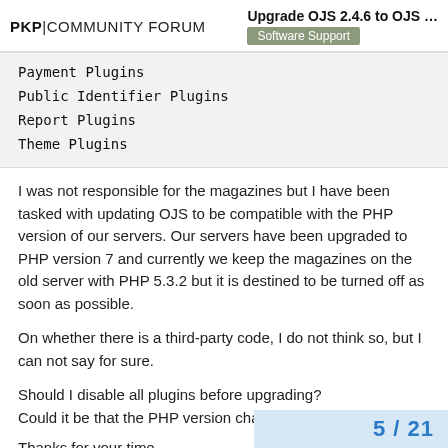PKP|COMMUNITY FORUM — Upgrade OJS 2.4.6 to OJS … — Software Support
Payment Plugins
Public Identifier Plugins
Report Plugins
Theme Plugins
I was not responsible for the magazines but I have been tasked with updating OJS to be compatible with the PHP version of our servers. Our servers have been upgraded to PHP version 7 and currently we keep the magazines on the old server with PHP 5.3.2 but it is destined to be turned off as soon as possible.
On whether there is a third-party code, I do not think so, but I can not say for sure.
Should I disable all plugins before upgrading?
Could it be that the PHP version change is too big?
Thanks for your time
5 / 21